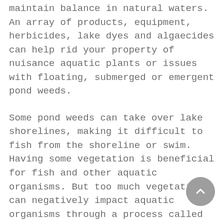maintain balance in natural waters. An array of products, equipment, herbicides, lake dyes and algaecides can help rid your property of nuisance aquatic plants or issues with floating, submerged or emergent pond weeds.
Some pond weeds can take over lake shorelines, making it difficult to fish from the shoreline or swim. Having some vegetation is beneficial for fish and other aquatic organisms. But too much vegetation can negatively impact aquatic organisms through a process called cultural eutrophication.
For a chemical-free approach, you can consider vegetation control as part of your pond stocking plan, such as stocking triploid grass carp and